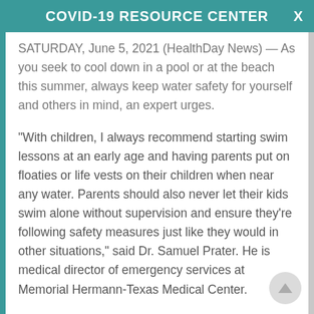COVID-19 RESOURCE CENTER
SATURDAY, June 5, 2021 (HealthDay News) — As you seek to cool down in a pool or at the beach this summer, always keep water safety for yourself and others in mind, an expert urges.
"With children, I always recommend starting swim lessons at an early age and having parents put on floaties or life vests on their children when near any water. Parents should also never let their kids swim alone without supervision and ensure they're following safety measures just like they would in other situations," said Dr. Samuel Prater. He is medical director of emergency services at Memorial Hermann-Texas Medical Center.
"If you have a pool at home, or a boat, it's also extremely important that you're not only following state